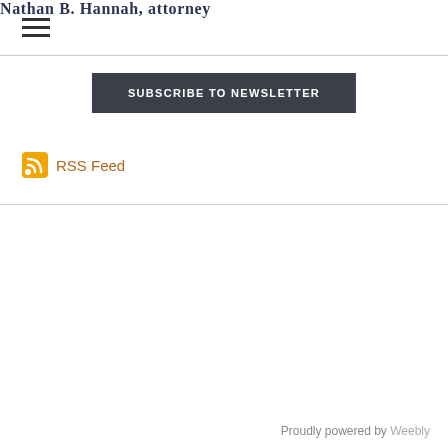Nathan B. Hannah, Attorney
SUBSCRIBE TO NEWSLETTER
RSS Feed
Proudly powered by Weebly